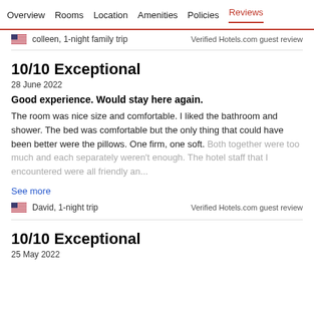Overview  Rooms  Location  Amenities  Policies  Reviews
colleen, 1-night family trip
Verified Hotels.com guest review
10/10 Exceptional
28 June 2022
Good experience. Would stay here again.
The room was nice size and comfortable. I liked the bathroom and shower. The bed was comfortable but the only thing that could have been better were the pillows. One firm, one soft. Both together were too much and each separately weren't enough. The hotel staff that I encountered were all friendly an...
See more
David, 1-night trip
Verified Hotels.com guest review
10/10 Exceptional
25 May 2022